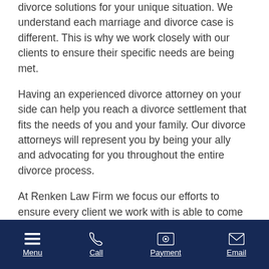divorce solutions for your unique situation. We understand each marriage and divorce case is different. This is why we work closely with our clients to ensure their specific needs are being met.
Having an experienced divorce attorney on your side can help you reach a divorce settlement that fits the needs of you and your family. Our divorce attorneys will represent you by being your ally and advocating for you throughout the entire divorce process.
At Renken Law Firm we focus our efforts to ensure every client we work with is able to come to a divorce settlement with their spouse that represents their
Menu  Call  Payment  Email